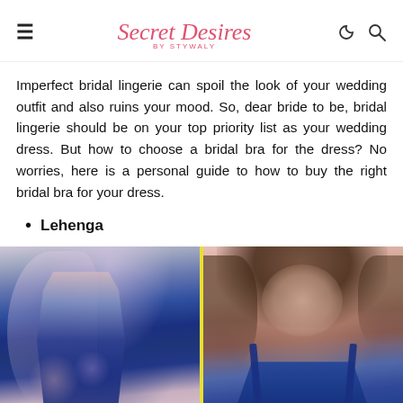Secret Desires by Stywaly
Imperfect bridal lingerie can spoil the look of your wedding outfit and also ruins your mood. So, dear bride to be, bridal lingerie should be on your top priority list as your wedding dress. But how to choose a bridal bra for the dress? No worries, here is a personal guide to how to buy the right bridal bra for your dress.
Lehenga
[Figure (photo): Side-by-side image: left side shows a woman in a navy blue floral lehenga with dupatta; right side shows a female model in a navy blue bralette/lingerie top, separated by a yellow divider line.]